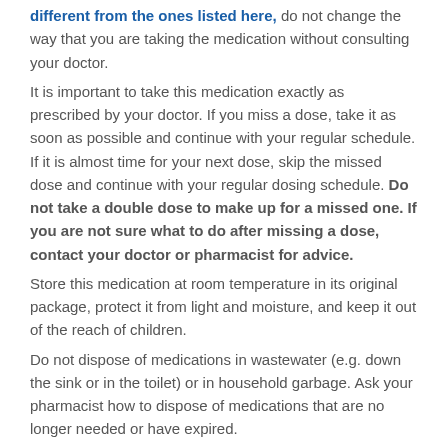different from the ones listed here, do not change the way that you are taking the medication without consulting your doctor.
It is important to take this medication exactly as prescribed by your doctor. If you miss a dose, take it as soon as possible and continue with your regular schedule. If it is almost time for your next dose, skip the missed dose and continue with your regular dosing schedule. Do not take a double dose to make up for a missed one. If you are not sure what to do after missing a dose, contact your doctor or pharmacist for advice.
Store this medication at room temperature in its original package, protect it from light and moisture, and keep it out of the reach of children.
Do not dispose of medications in wastewater (e.g. down the sink or in the toilet) or in household garbage. Ask your pharmacist how to dispose of medications that are no longer needed or have expired.
Who should NOT take this medication?